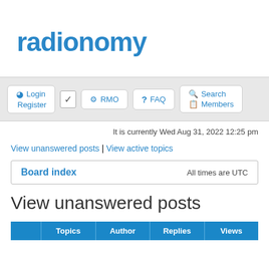[Figure (logo): Radionomy logo — bold blue text 'radionomy']
Login | Register | RMO | FAQ | Search | Members — navigation bar
It is currently Wed Aug 31, 2022 12:25 pm
View unanswered posts | View active topics
| Board index | All times are UTC |
| --- | --- |
View unanswered posts
|  | Topics | Author | Replies | Views |
| --- | --- | --- | --- | --- |